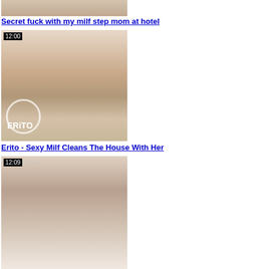[Figure (photo): Partial top video thumbnail cropped at top of page]
Secret fuck with my milf step mom at hotel
[Figure (photo): Video thumbnail with duration badge 12:00 and ERITO watermark logo]
Erito - Sexy Milf Cleans The House With Her
[Figure (photo): Video thumbnail with duration badge 12:09 and JAVhub.com watermark, showing woman's face]